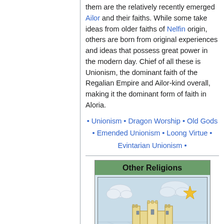them are the relatively recently emerged Ailor and their faiths. While some take ideas from older faiths of Nelfin origin, others are born from original experiences and ideas that possess great power in the modern day. Chief of all these is Unionism, the dominant faith of the Regalian Empire and Ailor-kind overall, making it the dominant form of faith in Aloria.
• Unionism • Dragon Worship • Old Gods • Emended Unionism • Loong Virtue • Evintarian Unionism •
[Figure (illustration): Other Religions box with green header and an illustration showing clouds, a star, and a castle/city scene with light rays]